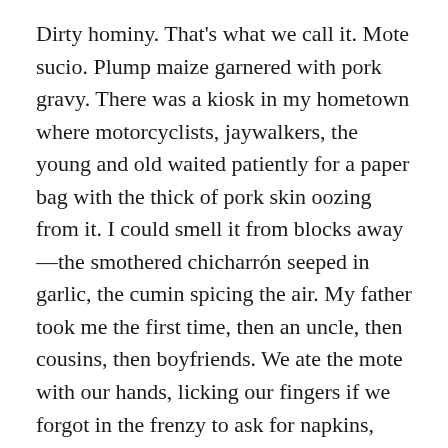Dirty hominy. That's what we call it. Mote sucio. Plump maize garnered with pork gravy. There was a kiosk in my hometown where motorcyclists, jaywalkers, the young and old waited patiently for a paper bag with the thick of pork skin oozing from it. I could smell it from blocks away—the smothered chicharrón seeped in garlic, the cumin spicing the air. My father took me the first time, then an uncle, then cousins, then boyfriends. We ate the mote with our hands, licking our fingers if we forgot in the frenzy to ask for napkins, hoping the roadside lady would share the recipe with her children and someone would take up the mantle. That they wouldn't mind men in line slurping—saying rico, sabroso, más. The maize